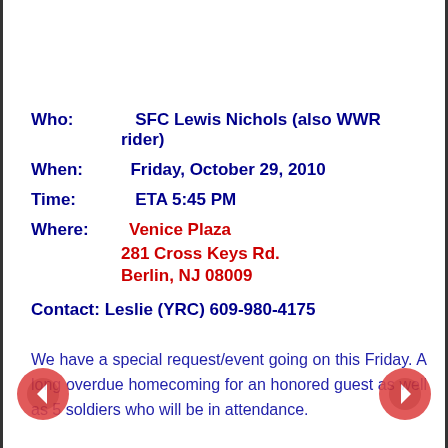Who:    SFC Lewis Nichols (also WWR rider)
When:   Friday, October 29, 2010
Time:   ETA 5:45 PM
Where:  Venice Plaza
281 Cross Keys Rd.
Berlin, NJ 08009
Contact: Leslie (YRC) 609-980-4175
We have a special request/event going on this Friday. A long overdue homecoming for an honored guest as well as 5 soldiers who will be in attendance.
SFC Nichols is getting married Friday. He will be getting his overdue Welcome Back From Iraq from the WWR and YRC, but there are also 5 of his friends who also served in Iraq at some point and did not get a welcome home either. So we will be doing a BIG BANG of a welcome home at SFC